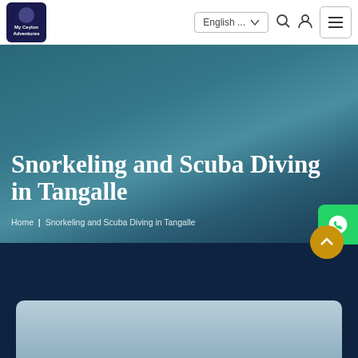My Ceylon Adventures | English ... | navigation icons
Snorkeling and Scuba Diving in Tangalle
Home | Snorkeling and Scuba Diving in Tangalle
[Figure (screenshot): Bottom dark navy section with a light blue/grey rounded card partially visible at the bottom of the page]